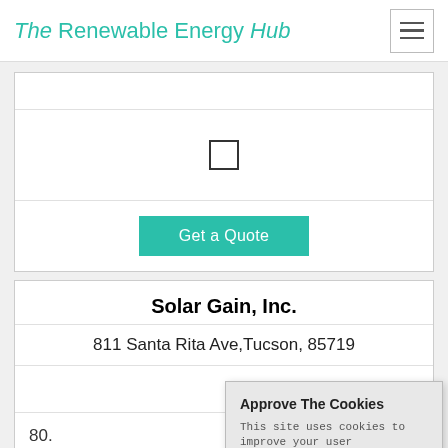The Renewable Energy Hub
[Figure (screenshot): Checkbox input element in a form card]
Get a Quote
Solar Gain, Inc.
811 Santa Rita Ave,Tucson, 85719
80.
[Figure (infographic): Five star rating (empty/outline stars)]
Approve The Cookies
This site uses cookies to improve your user experience.
Accept | Decline
Cookie policy